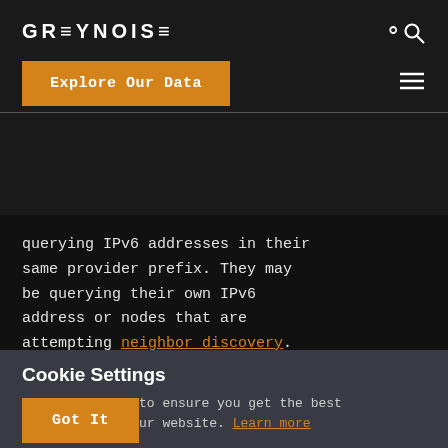GREYNOISE
Explore Our Data
querying IPv6 addresses in their same provider prefix. They may be querying their own IPv6 address or nodes that are attempting neighbor discovery.
Cookie Settings
We use cookies to ensure you get the best experience on our website. Learn more
Got It